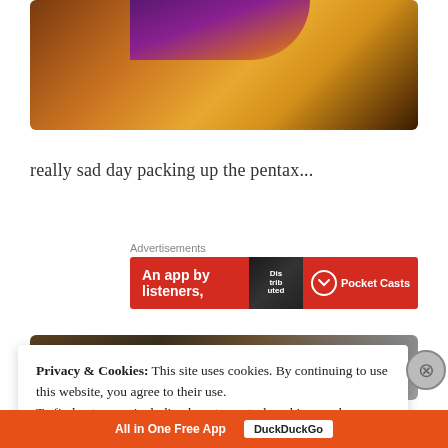[Figure (photo): Close-up photo showing warm orange and golden tones with a purple/dark diagonal stripe, appears to be a camera or similar object]
really sad day packing up the pentax...
[Figure (photo): Advertisement banner: red background with text 'An app by listeners,' and Pocket Casts logo, plus a dark book cover graphic]
[Figure (photo): Partial photo below the ad, dark toned image]
Privacy & Cookies: This site uses cookies. By continuing to use this website, you agree to their use.
To find out more, including how to control cookies, see here:
Cookie Policy
Close and accept